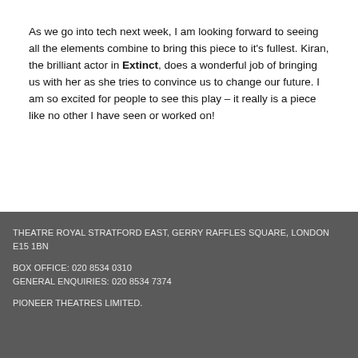As we go into tech next week, I am looking forward to seeing all the elements combine to bring this piece to it's fullest. Kiran, the brilliant actor in Extinct, does a wonderful job of bringing us with her as she tries to convince us to change our future. I am so excited for people to see this play – it really is a piece like no other I have seen or worked on!
THEATRE ROYAL STRATFORD EAST, GERRY RAFFLES SQUARE, LONDON E15 1BN

BOX OFFICE: 020 8534 0310
GENERAL ENQUIRIES: 020 8534 7374

PIONEER THEATRES LIMITED.